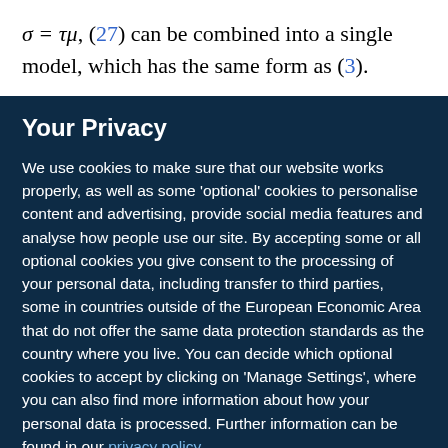σ = τμ, (27) can be combined into a single model, which has the same form as (3).
Your Privacy
We use cookies to make sure that our website works properly, as well as some 'optional' cookies to personalise content and advertising, provide social media features and analyse how people use our site. By accepting some or all optional cookies you give consent to the processing of your personal data, including transfer to third parties, some in countries outside of the European Economic Area that do not offer the same data protection standards as the country where you live. You can decide which optional cookies to accept by clicking on 'Manage Settings', where you can also find more information about how your personal data is processed. Further information can be found in our privacy policy.
Accept all cookies
Manage preferences